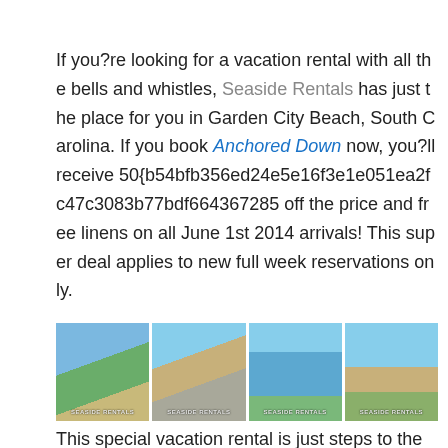If you?re looking for a vacation rental with all the bells and whistles, Seaside Rentals has just the place for you in Garden City Beach, South Carolina. If you book Anchored Down now, you?ll receive 50{b54bfb356ed24e5e16f3e1e051ea2fc47c3083b77bdf664367285 off the price and free linens on all June 1st 2014 arrivals! This super deal applies to new full week reservations only.
[Figure (photo): Four photos of vacation rental property: house exterior with palms, driveway/patio, pool/hot tub, and waterfront/marina view. Each has a 'SEASIDE RENTALS' watermark.]
This special vacation rental is just steps to the ocean at 1852 Dolphin Street, Garden City Beach. It has a whooping 8 bedrooms and 5.5 baths accommodating up to 24 people plus a small dog (only).The inside is professionally decorated in beautiful beach decor and comes with